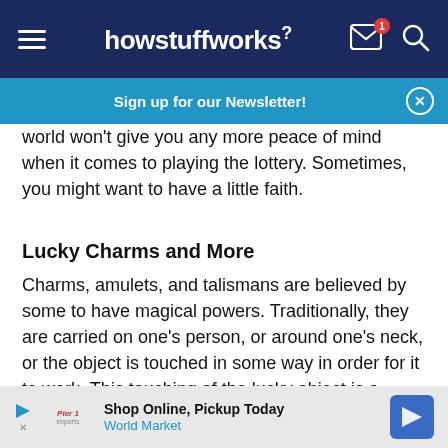howstuffworks
Sign up for our Newsletter!
world won't give you any more peace of mind when it comes to playing the lottery. Sometimes, you might want to have a little faith.
Lucky Charms and More
Charms, amulets, and talismans are believed by some to have magical powers. Traditionally, they are carried on one's person, or around one's neck, or the object is touched in some way in order for it to work. This touching of the lucky object is a belief in many cultures. In Mexico and other Latin American countries, you must touch a person or item that you verbally admire or risk invoking El
Shop Online, Pickup Today
World Market